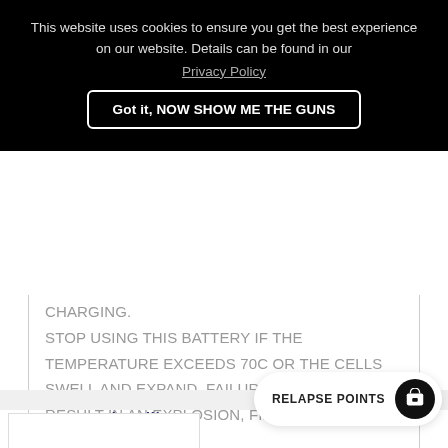This website uses cookies to ensure you get the best experience on our website. Details can be found in our Privacy Policy
Got it, NOW SHOW ME THE GUNS
CHARGING. STOP USING THIS BATTERY IF THE TEMPERATURE EXCEEDS 70C OR THE CELLS SWELL AND EXPAND. FAILURE TO COMPLY MAY RESULT IN AN EXPLOSION, FIRE AND VENTING OF THE CELLS.
You may also like
RELAPSE POINTS